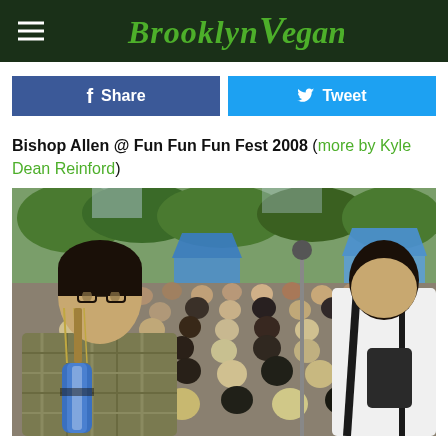BrooklynVegan
Share | Tweet
Bishop Allen @ Fun Fun Fun Fest 2008 (more by Kyle Dean Reinford)
[Figure (photo): Concert photo of Bishop Allen performing at Fun Fun Fun Fest 2008. A guitarist in a plaid shirt holds a blue and white electric guitar in the foreground left, facing the crowd. Another performer in a white shirt is seen from behind on the right. A large crowd fills the background, with blue tent canopies and trees visible.]